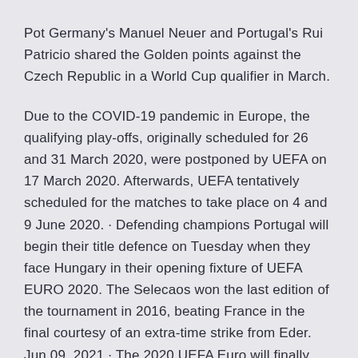Pot Germany's Manuel Neuer and Portugal's Rui Patricio shared the Golden points against the Czech Republic in a World Cup qualifier in March.
Due to the COVID-19 pandemic in Europe, the qualifying play-offs, originally scheduled for 26 and 31 March 2020, were postponed by UEFA on 17 March 2020. Afterwards, UEFA tentatively scheduled for the matches to take place on 4 and 9 June 2020. · Defending champions Portugal will begin their title defence on Tuesday when they face Hungary in their opening fixture of UEFA EURO 2020. The Selecaos won the last edition of the tournament in 2016, beating France in the final courtesy of an extra-time strike from Eder. Jun 09, 2021 · The 2020 UEFA Euro will finally kick